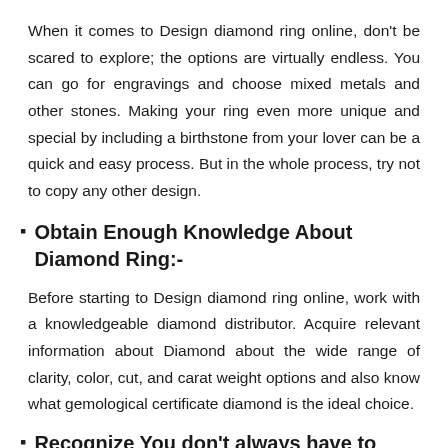When it comes to Design diamond ring online, don't be scared to explore; the options are virtually endless. You can go for engravings and choose mixed metals and other stones. Making your ring even more unique and special by including a birthstone from your lover can be a quick and easy process. But in the whole process, try not to copy any other design.
Obtain Enough Knowledge About Diamond Ring:-
Before starting to Design diamond ring online, work with a knowledgeable diamond distributor. Acquire relevant information about Diamond about the wide range of clarity, color, cut, and carat weight options and also know what gemological certificate diamond is the ideal choice.
Recognize You don't always have to buy Diamonds: